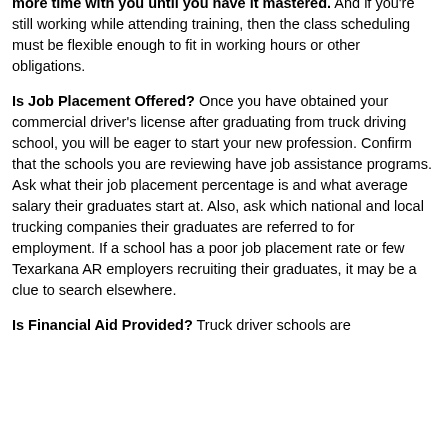driving maneuver, then the instructor should be willing to spend more time with you until you have it mastered. And if you're still working while attending training, then the class scheduling must be flexible enough to fit in working hours or other obligations.
Is Job Placement Offered? Once you have obtained your commercial driver's license after graduating from truck driving school, you will be eager to start your new profession. Confirm that the schools you are reviewing have job assistance programs. Ask what their job placement percentage is and what average salary their graduates start at. Also, ask which national and local trucking companies their graduates are referred to for employment. If a school has a poor job placement rate or few Texarkana AR employers recruiting their graduates, it may be a clue to search elsewhere.
Is Financial Aid Provided? Truck driver schools are